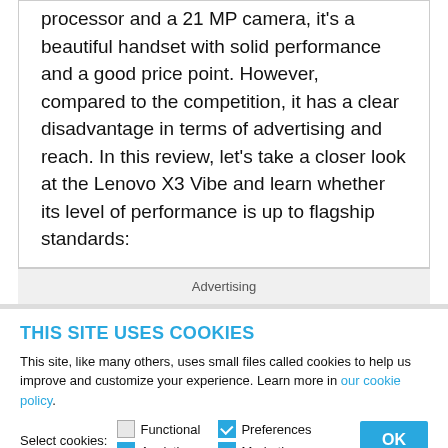processor and a 21 MP camera, it's a beautiful handset with solid performance and a good price point. However, compared to the competition, it has a clear disadvantage in terms of advertising and reach. In this review, let's take a closer look at the Lenovo X3 Vibe and learn whether its level of performance is up to flagship standards:
Advertising
THIS SITE USES COOKIES
This site, like many others, uses small files called cookies to help us improve and customize your experience. Learn more in our cookie policy.
Select cookies: Functional (unchecked), Preferences (checked), Analytics (checked), Marketing (checked)